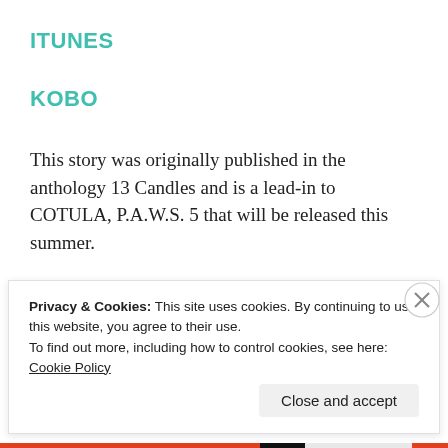ITUNES
KOBO
This story was originally published in the anthology 13 Candles and is a lead-in to COTULA, P.A.W.S. 5 that will be released this summer.
Advertisements
[Figure (logo): AUTOMATTIC logo with a compass/target icon replacing the letter O]
Privacy & Cookies: This site uses cookies. By continuing to use this website, you agree to their use.
To find out more, including how to control cookies, see here: Cookie Policy
Close and accept